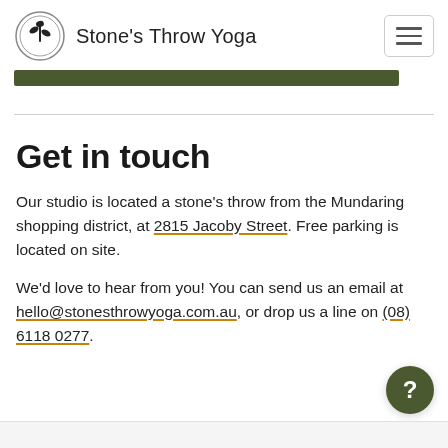Stone's Throw Yoga
[Figure (other): Dark olive green horizontal bar element]
Get in touch
Our studio is located a stone's throw from the Mundaring shopping district, at 2815 Jacoby Street. Free parking is located on site.
We'd love to hear from you! You can send us an email at hello@stonesthrowyoga.com.au, or drop us a line on (08) 6118 0277.